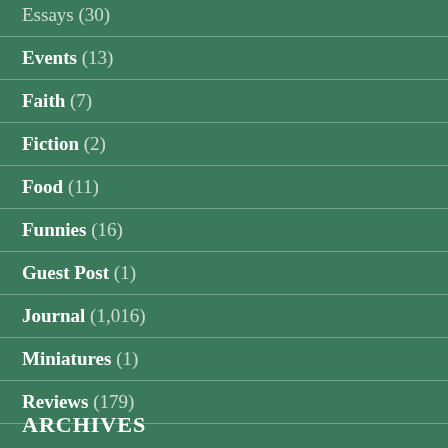Essays (30)
Events (13)
Faith (7)
Fiction (2)
Food (11)
Funnies (16)
Guest Post (1)
Journal (1,016)
Miniatures (1)
Reviews (179)
ARCHIVES